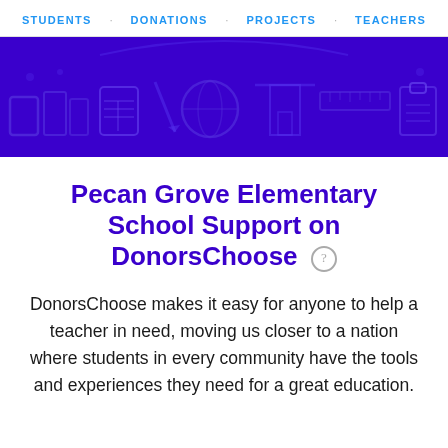STUDENTS · DONATIONS · PROJECTS · TEACHERS
[Figure (illustration): Dark purple/indigo banner with decorative pattern of school-related icons and shapes]
Pecan Grove Elementary School Support on DonorsChoose
DonorsChoose makes it easy for anyone to help a teacher in need, moving us closer to a nation where students in every community have the tools and experiences they need for a great education.